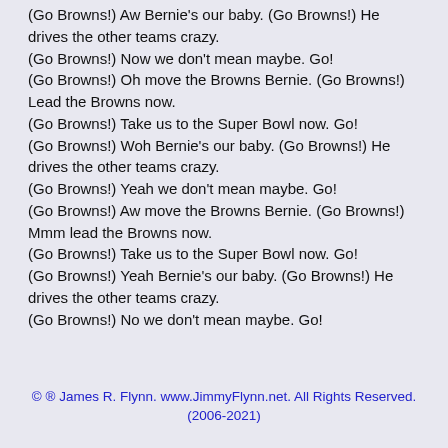(Go Browns!) Aw Bernie's our baby. (Go Browns!) He drives the other teams crazy.
(Go Browns!) Now we don't mean maybe. Go!
(Go Browns!) Oh move the Browns Bernie. (Go Browns!) Lead the Browns now.
(Go Browns!) Take us to the Super Bowl now. Go!
(Go Browns!) Woh Bernie's our baby. (Go Browns!) He drives the other teams crazy.
(Go Browns!) Yeah we don't mean maybe. Go!
(Go Browns!) Aw move the Browns Bernie. (Go Browns!) Mmm lead the Browns now.
(Go Browns!) Take us to the Super Bowl now. Go!
(Go Browns!) Yeah Bernie's our baby. (Go Browns!) He drives the other teams crazy.
(Go Browns!) No we don't mean maybe. Go!
© ® James R. Flynn. www.JimmyFlynn.net. All Rights Reserved. (2006-2021)